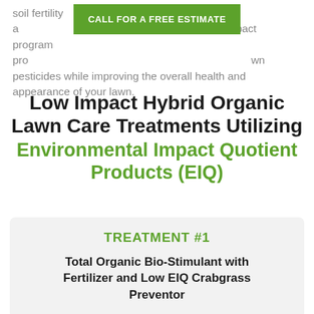soil fertility a… pact program pro… wn pesticides while improving the overall health and appearance of your lawn.
[Figure (other): Green call-to-action button with text CALL FOR A FREE ESTIMATE]
Low Impact Hybrid Organic Lawn Care Treatments Utilizing Environmental Impact Quotient Products (EIQ)
TREATMENT #1
Total Organic Bio-Stimulant with Fertilizer and Low EIQ Crabgrass Preventor